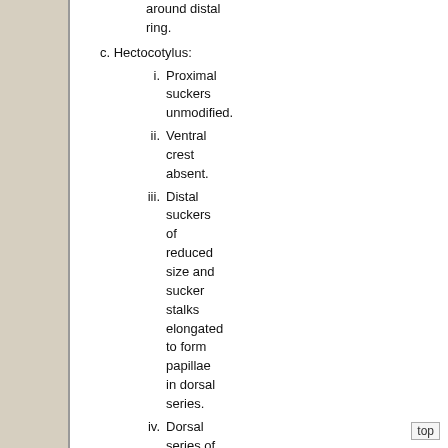around distal ring.
c. Hectocotylus:
i. Proximal suckers unmodified.
ii. Ventral crest absent.
iii. Distal suckers of reduced size and sucker stalks elongated to form papillae in dorsal series.
iv. Dorsal series of papillae and trabeculae at distal tip form bicuspid lamelliform flaps separated